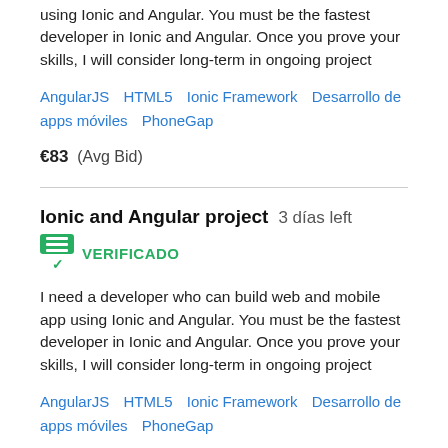using Ionic and Angular. You must be the fastest developer in Ionic and Angular. Once you prove your skills, I will consider long-term in ongoing project
AngularJS   HTML5   Ionic Framework   Desarrollo de apps móviles   PhoneGap
€83  (Avg Bid)
Ionic and Angular project  3 días left
VERIFICADO
I need a developer who can build web and mobile app using Ionic and Angular. You must be the fastest developer in Ionic and Angular. Once you prove your skills, I will consider long-term in ongoing project
AngularJS   HTML5   Ionic Framework   Desarrollo de apps móviles   PhoneGap
€53  (Avg Bid)